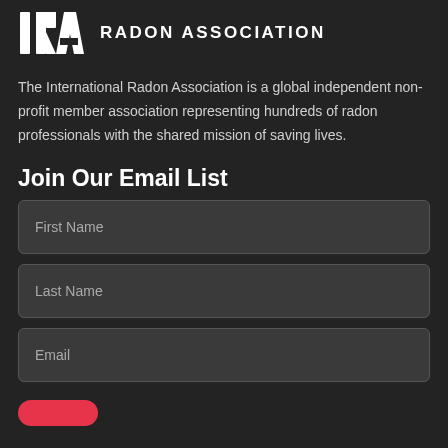[Figure (logo): International Radon Association logo — stylized IRA letters in white on dark background, with text RADON ASSOCIATION beside it]
The International Radon Association is a global independent non-profit member association representing hundreds of radon professionals with the shared mission of saving lives.
Join Our Email List
First Name
Last Name
Email